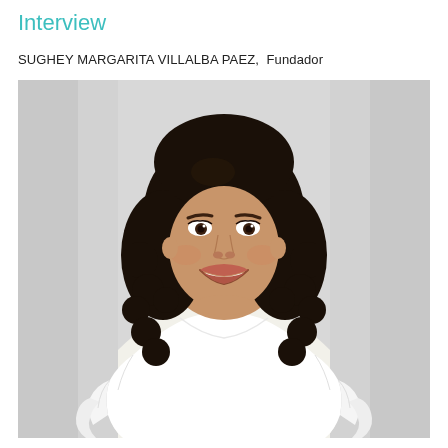Interview
SUGHEY MARGARITA VILLALBA PAEZ,  Fundador
[Figure (photo): Portrait photo of Sughey Margarita Villalba Paez, a woman with long curly dark hair, smiling, wearing a white cold-shoulder blouse with ruffled sleeves, standing against a light gray background.]